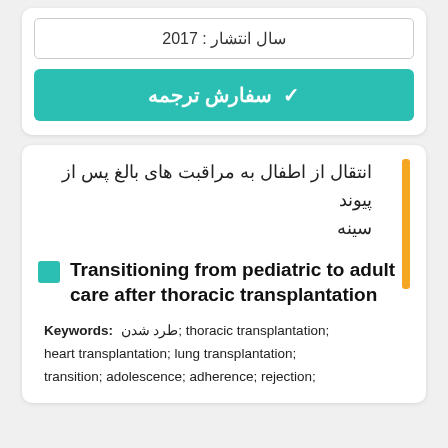سال انتشار : 2017
✓  سفارش ترجمه
انتقال از اطفال به مراقبت های بالغ پس از پیوند سینه
Transitioning from pediatric to adult care after thoracic transplantation
Keywords: طرد شدن; thoracic transplantation; heart transplantation; lung transplantation; transition; adolescence; adherence; rejection;